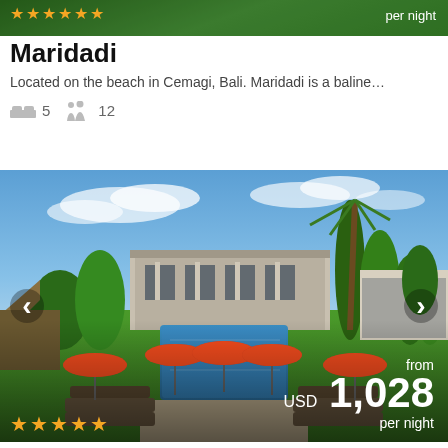[Figure (photo): Top strip of a villa property photo with green tropical background, stars rating and 'per night' text overlay]
Maridadi
Located on the beach in Cemagi, Bali. Maridadi is a baline...
5 bedrooms, 12 guests
[Figure (photo): Exterior photo of Maridadi villa in Bali showing a large swimming pool surrounded by sun loungers with orange parasols, tropical garden, and villa buildings under blue sky. Price overlay shows: from USD 1,028 per night. Navigation arrows on sides. Star rating at bottom left.]